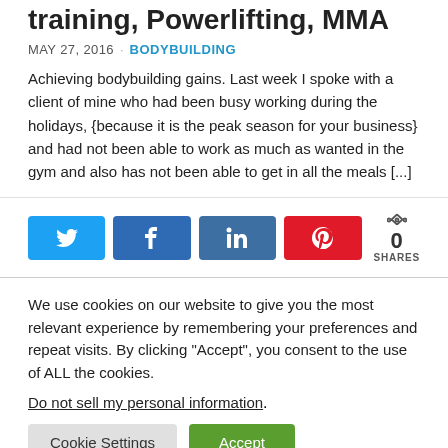training, Powerlifting, MMA
MAY 27, 2016 · BODYBUILDING
Achieving bodybuilding gains. Last week I spoke with a client of mine who had been busy working during the holidays, {because it is the peak season for your business} and had not been able to work as much as wanted in the gym and also has not been able to get in all the meals [...]
[Figure (infographic): Social share buttons: Twitter, Facebook, LinkedIn, Pinterest, and share count showing 0 SHARES]
We use cookies on our website to give you the most relevant experience by remembering your preferences and repeat visits. By clicking "Accept", you consent to the use of ALL the cookies.
Do not sell my personal information.
Cookie Settings | Accept